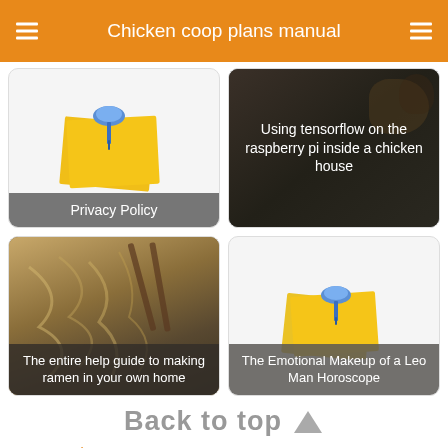Chicken coop plans manual
[Figure (screenshot): Card: sticky note with pushpin icon, labeled Privacy Policy]
[Figure (photo): Card: photo of chickens with text overlay 'Using tensorflow on the raspberry pi inside a chicken house']
[Figure (photo): Card: photo of ramen noodles with text overlay 'The entire help guide to making ramen in your own home']
[Figure (illustration): Card: sticky note with pushpin icon and text overlay 'The Emotional Makeup of a Leo Man Horoscope']
Back to top
Tags: appointments